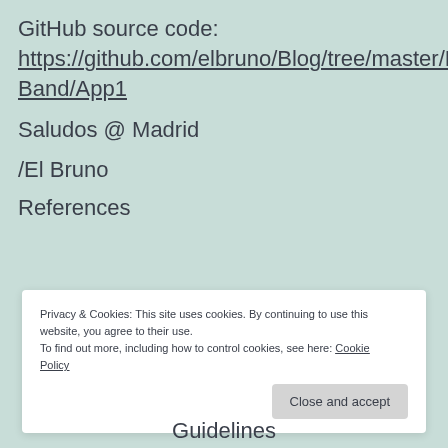GitHub source code:
https://github.com/elbruno/Blog/tree/master/MSBand/App1
Saludos @ Madrid
/El Bruno
References
Privacy & Cookies: This site uses cookies. By continuing to use this website, you agree to their use.
To find out more, including how to control cookies, see here: Cookie Policy
Close and accept
Guidelines